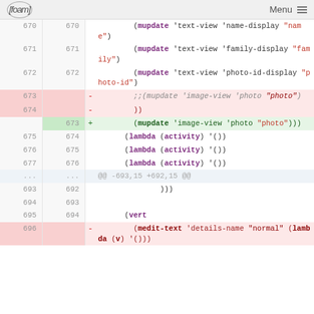[foam] Menu
[Figure (screenshot): Code diff view showing changes to a Lisp/Clojure-like file. Lines 670-677 and 693-696 are shown with context, deletions (red background), and additions (green background). The diff shows replacement of commented-out mupdate image-view call with an uncommented version.]